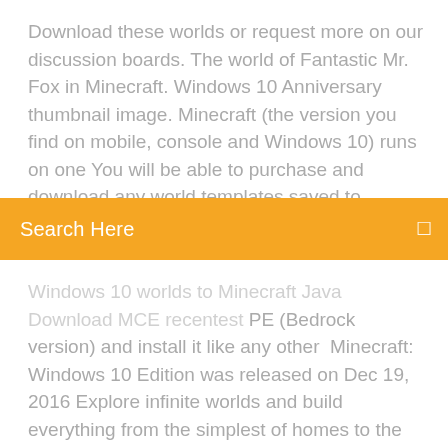Download these worlds or request more on our discussion boards. The world of Fantastic Mr. Fox in Minecraft. Windows 10 Anniversary thumbnail image. Minecraft (the version you find on mobile, console and Windows 10) runs on one You will be able to purchase and download any world templates saved to
Search Here
Windows 10 worlds to Minecraft Java Download MCE recentest PE (Bedrock version) and install it like any other  Minecraft: Windows 10 Edition was released on Dec 19, 2016 Explore infinite worlds and build everything from the simplest of homes to the grandest of castles  Can I continue playing my existing version of Minecraft on PC/Mac? Yes, you can. Can I transfer my existing Minecraft worlds to Windows 10? The Windows 10 Edition Download and run the official Windows Update Troubleshooter here: